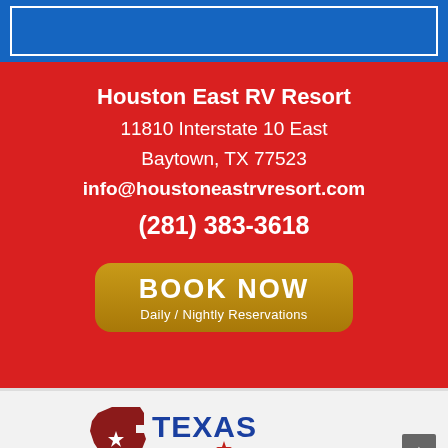[Figure (other): Blue banner/header bar with white border rectangle at top of page]
Houston East RV Resort
11810 Interstate 10 East
Baytown, TX 77523
info@houstoneastrvresort.com
(281) 383-3618
BOOK NOW
Daily / Nightly Reservations
[Figure (logo): Texas Campgrounds logo with Texas state shape outline in red/maroon, blue and red text reading TEXAS CAMPGROUNDS with a star between the words]